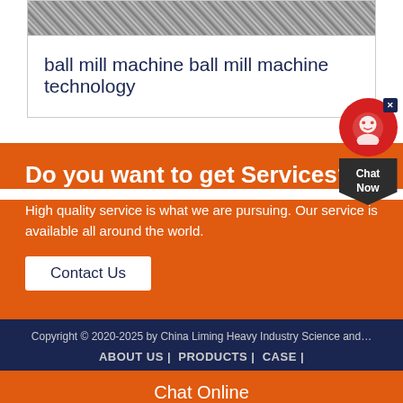[Figure (photo): Grayscale texture image of granular/rocky material, likely ball mill output or raw material]
ball mill machine ball mill machine technology
Do you want to get Services?
High quality service is what we are pursuing. Our service is available all around the world.
Contact Us
Copyright © 2020-2025 by China Liming Heavy Industry Science and...
ABOUT US |  PRODUCTS |  CASE |
Chat Online